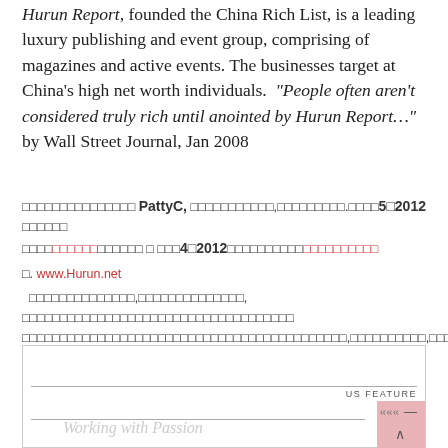Hurun Report, founded the China Rich List, is a leading luxury publishing and event group, comprising of magazines and active events. The businesses target at China's high net worth individuals. "People often aren't considered truly rich until anointed by Hurun Report..." by Wall Street Journal, Jan 2008
Thai text block: PattyC, [Thai text], 5月2012, [Thai text], 4月2012, [Thai text]. www.Hurun.net [Thai text paragraph]
[Figure (other): Bottom box with 'US FEATURE' label, horizontal rules, arrows and dash symbols, pink box in corner, and 'Working with Passion' text in light gray italic]